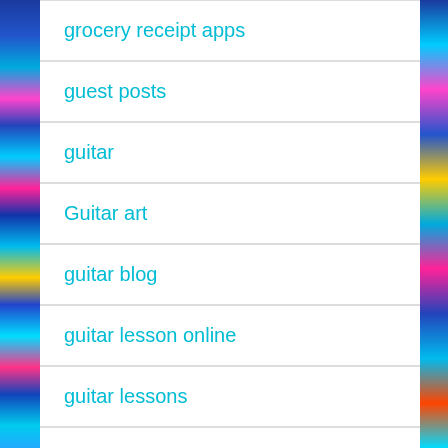grocery receipt apps
guest posts
guitar
Guitar art
guitar blog
guitar lesson online
guitar lessons
Guitar player
Guitarists